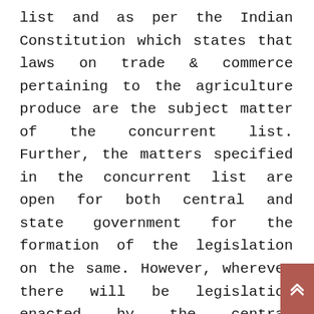list and as per the Indian Constitution which states that laws on trade & commerce pertaining to the agriculture produce are the subject matter of the concurrent list. Further, the matters specified in the concurrent list are open for both central and state government for the formation of the legislation on the same. However, wherever there will be legislation enacted by the central government on the concurrent list then the legislation of the centre will prevail over the state to the extent where both contradicts each other.

As a result, the challenge over the constitutional validity of these acts was